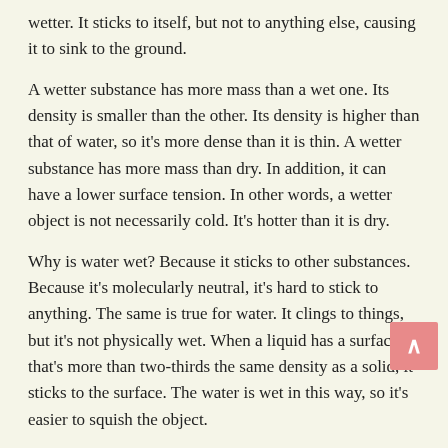wetter. It sticks to itself, but not to anything else, causing it to sink to the ground.
A wetter substance has more mass than a wet one. Its density is smaller than the other. Its density is higher than that of water, so it's more dense than it is thin. A wetter substance has more mass than dry. In addition, it can have a lower surface tension. In other words, a wetter object is not necessarily cold. It's hotter than it is dry.
Why is water wet? Because it sticks to other substances. Because it's molecularly neutral, it's hard to stick to anything. The same is true for water. It clings to things, but it's not physically wet. When a liquid has a surface that's more than two-thirds the same density as a solid, it sticks to the surface. The water is wet in this way, so it's easier to squish the object.
Water isn't wet by itself. It is "wetted" by other liquids. It can also be wet by touching an object, but it can't be wet unless it is surrounded by other liquids. The question is, "Is water wet?"? The answer is, of course, not as simple